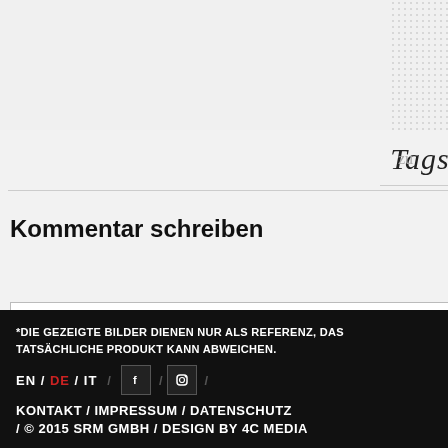Tags
Kommentar schreiben
[Figure (screenshot): Name input field placeholder]
[Figure (screenshot): E-Mail input field placeholder]
zu
AM
*DIE GEZEIGTE BILDER DIENEN NUR ALS REFERENZ, DAS TATSÄCHLICHE PRODUKT KANN ABWEICHEN. EN / DE / IT / KONTAKT / IMPRESSUM / DATENSCHUTZ / © 2015 SRM GMBH / DESIGN BY 4C MEDIA